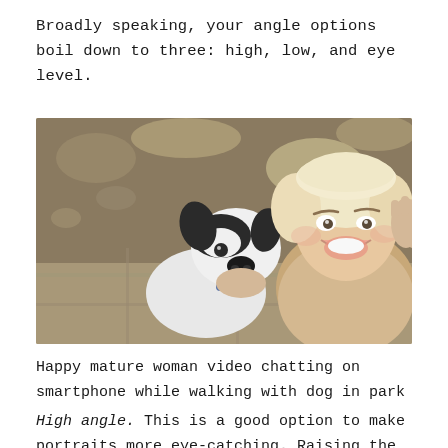Broadly speaking, your angle options boil down to three: high, low, and eye level.
[Figure (photo): A happy mature woman with blonde hair taking a selfie video call on her smartphone while hugging a black and white dog outdoors in a park setting. Shot from a high angle perspective.]
Happy mature woman video chatting on smartphone while walking with dog in park
High angle. This is a good option to make portraits more eye-catching. Raising the